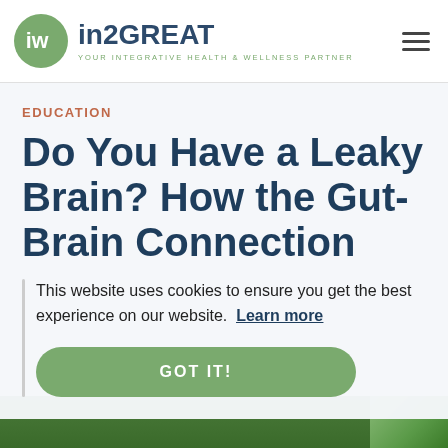[Figure (logo): in2GREAT logo with green circle containing stylized 'iw' symbol and text 'in2GREAT YOUR INTEGRATIVE HEALTH & WELLNESS PARTNER']
EDUCATION
Do You Have a Leaky Brain? How the Gut-Brain Connection
This website uses cookies to ensure you get the best experience on our website. Learn more
GOT IT!
[Figure (photo): Green outdoor nature photo at bottom of page]